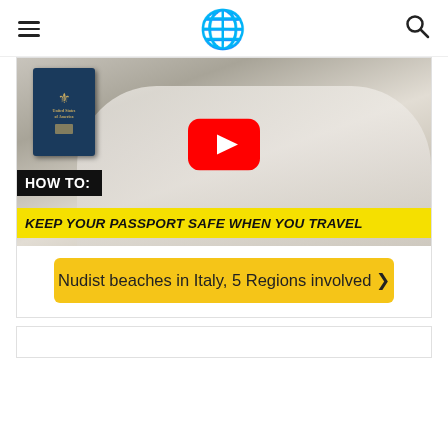≡  🌐  🔍
[Figure (screenshot): YouTube video thumbnail showing a man holding a US passport with YouTube play button overlay. Bottom overlay text reads 'HOW TO: KEEP YOUR PASSPORT SAFE WHEN YOU TRAVEL' on black and yellow backgrounds.]
Nudist beaches in Italy, 5 Regions involved ❯
[Figure (screenshot): Bottom card area, partially visible, white background with border.]